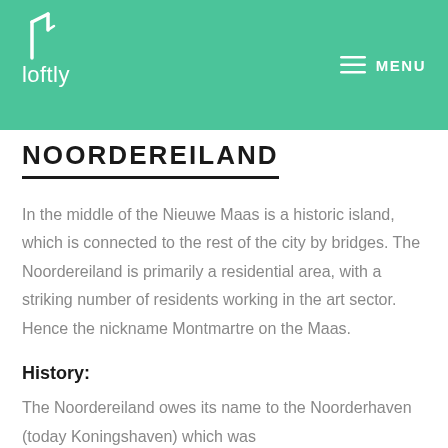loftly MENU
NOORDEREILAND
In the middle of the Nieuwe Maas is a historic island, which is connected to the rest of the city by bridges. The Noordereiland is primarily a residential area, with a striking number of residents working in the art sector. Hence the nickname Montmartre on the Maas.
History:
The Noordereiland owes its name to the Noorderhaven (today Koningshaven) which was constructed in the 19th century. As a result, the district...